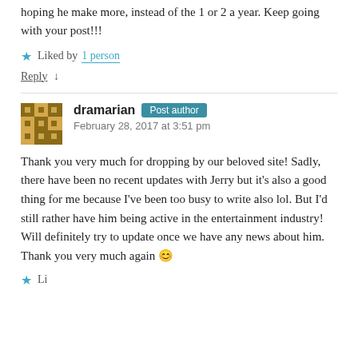hoping he make more, instead of the 1 or 2 a year. Keep going with your post!!!
★ Liked by 1 person
Reply ↓
dramarian Post author
February 28, 2017 at 3:51 pm
Thank you very much for dropping by our beloved site! Sadly, there have been no recent updates with Jerry but it's also a good thing for me because I've been too busy to write also lol. But I'd still rather have him being active in the entertainment industry! Will definitely try to update once we have any news about him. Thank you very much again 😊
★ Li